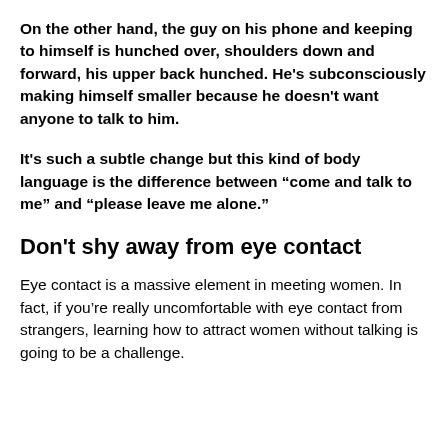On the other hand, the guy on his phone and keeping to himself is hunched over, shoulders down and forward, his upper back hunched. He's subconsciously making himself smaller because he doesn't want anyone to talk to him.
It's such a subtle change but this kind of body language is the difference between “come and talk to me” and “please leave me alone.”
Don't shy away from eye contact
Eye contact is a massive element in meeting women. In fact, if you’re really uncomfortable with eye contact from strangers, learning how to attract women without talking is going to be a challenge.